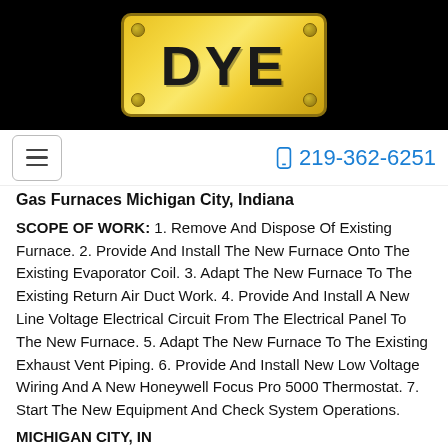[Figure (logo): DYE company logo — gold metallic plate with bolts/screws at corners, bold black DYE text, on black background]
219-362-6251
Gas Furnaces Michigan City, Indiana
SCOPE OF WORK: 1. Remove And Dispose Of Existing Furnace. 2. Provide And Install The New Furnace Onto The Existing Evaporator Coil. 3. Adapt The New Furnace To The Existing Return Air Duct Work. 4. Provide And Install A New Line Voltage Electrical Circuit From The Electrical Panel To The New Furnace. 5. Adapt The New Furnace To The Existing Exhaust Vent Piping. 6. Provide And Install New Low Voltage Wiring And A New Honeywell Focus Pro 5000 Thermostat. 7. Start The New Equipment And Check System Operations.
MICHIGAN CITY, IN